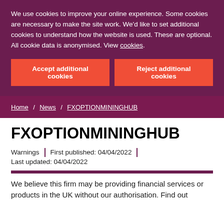We use cookies to improve your online experience. Some cookies are necessary to make the site work. We'd like to set additional cookies to understand how the website is used. These are optional. All cookie data is anonymised. View cookies.
Accept additional cookies
Reject additional cookies
Home / News / FXOPTIONMININGHUB
FXOPTIONMININGHUB
Warnings | First published: 04/04/2022 | Last updated: 04/04/2022
We believe this firm may be providing financial services or products in the UK without our authorisation. Find out